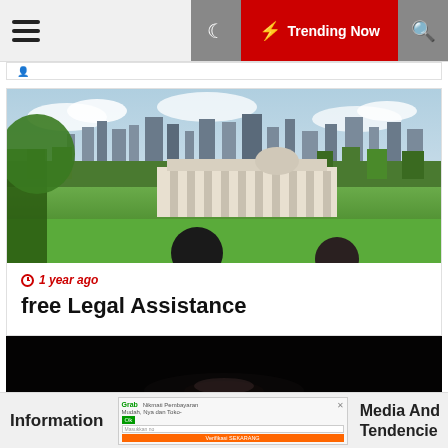Trending Now
[Figure (photo): Aerial view of London skyline with green park in foreground and two heads of people visible at bottom]
1 year ago
free Legal Assistance
[Figure (photo): Dark interior photo, dimly lit scene]
Information
Media And Tendencie